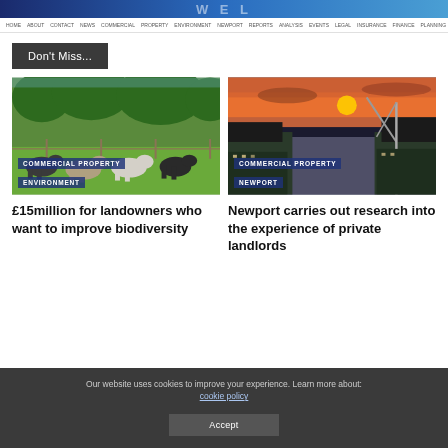WEL
HOME ABOUT CONTACT NEWS COMMERCIAL PROPERTY ENVIRONMENT NEWPORT REPORTS ANALYSIS EVENTS LEGAL INSURANCE FINANCE PLANNING RETAIL TECH TRANSPORT ENERGY HEALTH
Don't Miss...
[Figure (photo): Donkeys grazing in a green field with trees in the background]
COMMERCIAL PROPERTY ENVIRONMENT
£15million for landowners who want to improve biodiversity
[Figure (photo): Aerial view of a waterway and city at sunset with orange sky]
COMMERCIAL PROPERTY NEWPORT
Newport carries out research into the experience of private landlords
Our website uses cookies to improve your experience. Learn more about: cookie policy
Accept